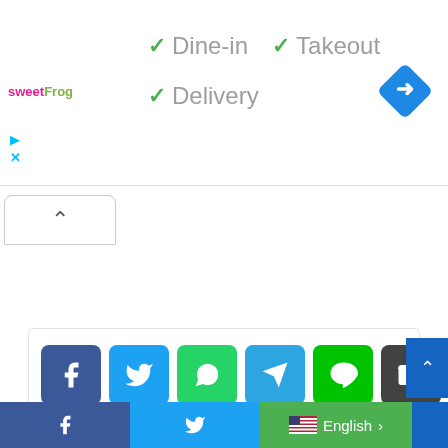[Figure (screenshot): sweetFrog logo in top left of ad banner]
✓ Dine-in   ✓ Takeout
✓ Delivery
[Figure (infographic): Blue diamond direction/navigation icon in top right]
[Figure (infographic): Collapse/chevron-up button below top section]
[Figure (infographic): Social share buttons: Facebook, Twitter, WhatsApp, Telegram, LINE, Email]
Advertisement
[Figure (infographic): Scroll to top button (blue, right side)]
Facebook | Twitter | English >